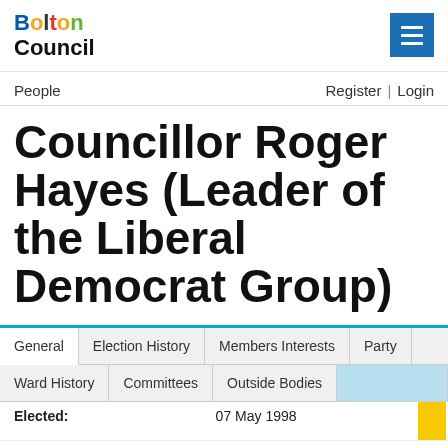Bolton Council
People   Register | Login
Councillor Roger Hayes (Leader of the Liberal Democrat Group)
| General | Election History | Members Interests | Party | Ward History | Committees | Outside Bodies |
| --- | --- | --- | --- | --- | --- | --- |
|  | Elected: | 07 May 1998 | First Elected | 03 May 1984 |
| --- | --- | --- | --- | --- |